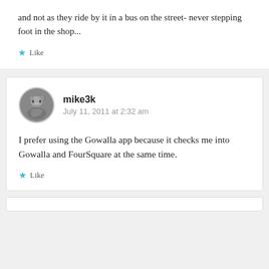and not as they ride by it in a bus on the street- never stepping foot in the shop...
★ Like
mike3k
July 11, 2011 at 2:32 am
I prefer using the Gowalla app because it checks me into Gowalla and FourSquare at the same time.
★ Like